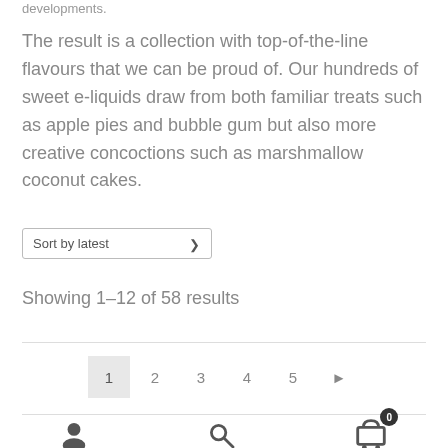developments.
The result is a collection with top-of-the-line flavours that we can be proud of. Our hundreds of sweet e-liquids draw from both familiar treats such as apple pies and bubble gum but also more creative concoctions such as marshmallow coconut cakes.
Sort by latest
Showing 1–12 of 58 results
1 2 3 4 5 ▶